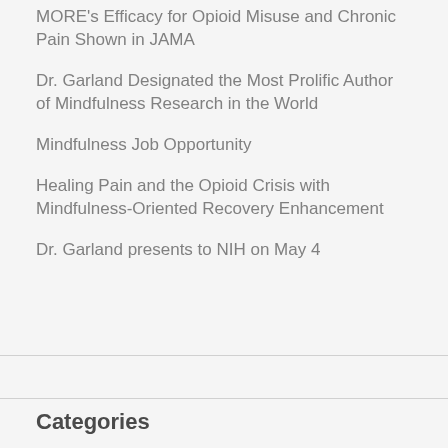MORE's Efficacy for Opioid Misuse and Chronic Pain Shown in JAMA
Dr. Garland Designated the Most Prolific Author of Mindfulness Research in the World
Mindfulness Job Opportunity
Healing Pain and the Opioid Crisis with Mindfulness-Oriented Recovery Enhancement
Dr. Garland presents to NIH on May 4
Categories